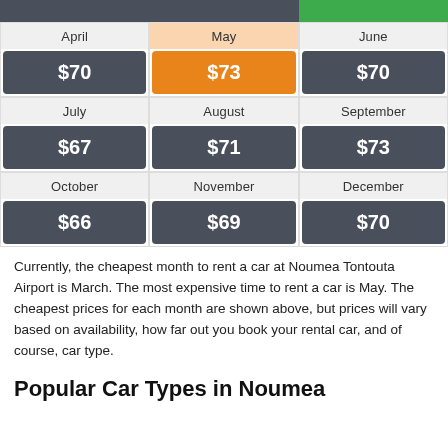| Month | Price |
| --- | --- |
| April | $70 |
| May | $73 |
| June | $70 |
| July | $67 |
| August | $71 |
| September | $73 |
| October | $66 |
| November | $69 |
| December | $70 |
Currently, the cheapest month to rent a car at Noumea Tontouta Airport is March. The most expensive time to rent a car is May. The cheapest prices for each month are shown above, but prices will vary based on availability, how far out you book your rental car, and of course, car type.
Popular Car Types in Noumea